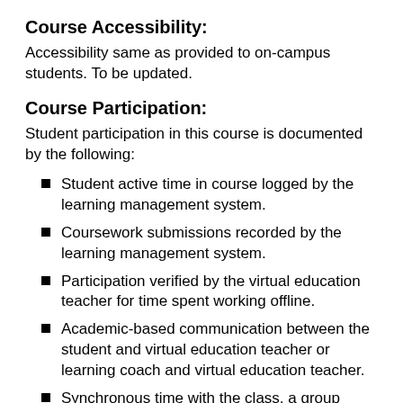Course Accessibility:
Accessibility same as provided to on-campus students. To be updated.
Course Participation:
Student participation in this course is documented by the following:
Student active time in course logged by the learning management system.
Coursework submissions recorded by the learning management system.
Participation verified by the virtual education teacher for time spent working offline.
Academic-based communication between the student and virtual education teacher or learning coach and virtual education teacher.
Synchronous time with the class, a group